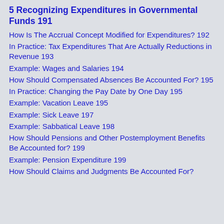5 Recognizing Expenditures in Governmental Funds 191
How Is The Accrual Concept Modified for Expenditures? 192
In Practice: Tax Expenditures That Are Actually Reductions in Revenue 193
Example: Wages and Salaries 194
How Should Compensated Absences Be Accounted For? 195
In Practice: Changing the Pay Date by One Day 195
Example: Vacation Leave 195
Example: Sick Leave 197
Example: Sabbatical Leave 198
How Should Pensions and Other Postemployment Benefits Be Accounted for? 199
Example: Pension Expenditure 199
How Should Claims and Judgments Be Accounted For?